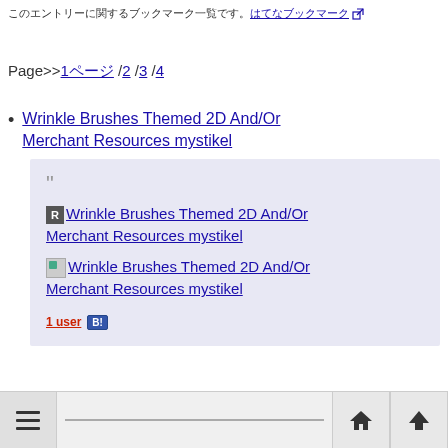（日本語テキスト）はてなブックマーク
Page>>1ページ /2 /3 /4
Wrinkle Brushes Themed 2D And/Or Merchant Resources mystikel
" Wrinkle Brushes Themed 2D And/Or Merchant Resources mystikel [image] Wrinkle Brushes Themed 2D And/Or Merchant Resources mystikel 1 user [B!]